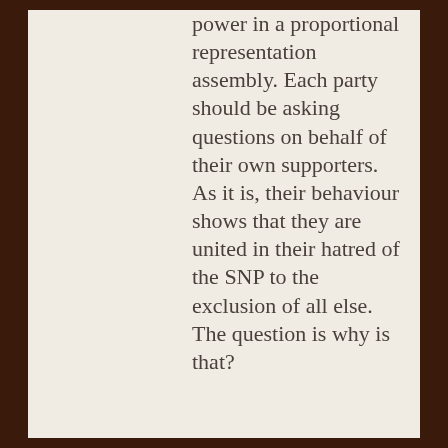power in a proportional representation assembly. Each party should be asking questions on behalf of their own supporters. As it is, their behaviour shows that they are united in their hatred of the SNP to the exclusion of all else. The question is why is that?